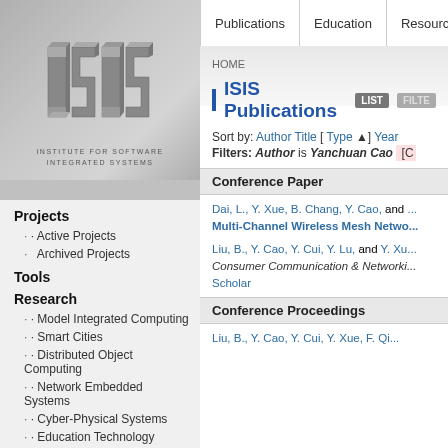[Figure (logo): ISIS Institute for Software Integrated Systems logo - stylized letter ISIS in 3D block letters, gray metallic appearance]
INSTITUTE FOR SOFTWARE INTEGRATED SYSTEMS
Publications | Education | Resources
HOME
ISIS Publications
Sort by: Author Title [ Type ▲ ] Year
Filters: Author is Yanchuan Cao [C
Conference Paper
Dai, L., Y. Xue, B. Chang, Y. Cao, and ... Multi-Channel Wireless Mesh Netwo...
Liu, B., Y. Cao, Y. Cui, Y. Lu, and Y. Xu... Consumer Communication & Networking... Scholar
Conference Proceedings
Liu, B., Y. Cao, Y. Cui, Y. Xue, F. Qi...